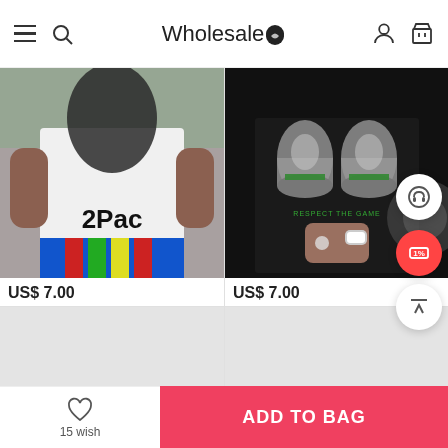Wholesale7
[Figure (photo): Person wearing a white 2Pac graphic t-shirt with colorful striped shorts, outdoor basketball court background]
US$ 7.00
[Figure (photo): Person wearing a black graphic t-shirt with rolled dollar bills print and text 'Respect The Game', holding something, watch on wrist]
US$ 7.00
[Figure (photo): Loading placeholder - light gray rectangle (bottom left product)]
[Figure (photo): Loading placeholder - light gray rectangle (bottom right product)]
15 wish
ADD TO BAG